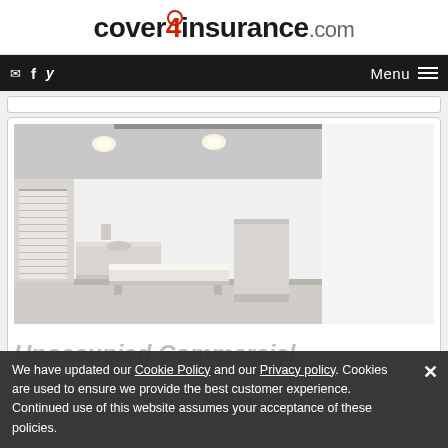cover4insurance.com
[Figure (screenshot): Navigation bar with social icons (email, Facebook, Twitter) on the left and Menu button with hamburger icon on the right, on black background]
[Figure (photo): Empty medical examination room with white walls, ceiling recessed lights, a white examination table/bed, a white desk/counter with sink, and a large rectangular white cabinet or refrigerator unit on the right side]
Unoccupied Commercial Property
We have updated our Cookie Policy and our Privacy policy. Cookies are used to ensure we provide the best customer experience. Continued use of this website assumes your acceptance of these policies.